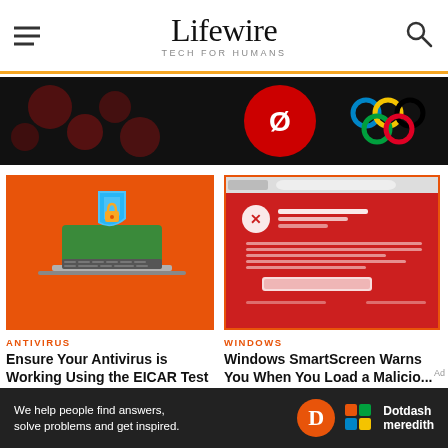Lifewire — TECH FOR HUMANS
[Figure (photo): Top advertisement banner with dark background, red circular logo and colorful Olympic-ring-like logo on right]
[Figure (illustration): Laptop with security shield and padlock on red background — antivirus article illustration]
ANTIVIRUS
Ensure Your Antivirus is Working Using the EICAR Test Fil...
[Figure (screenshot): Windows SmartScreen warning page showing 'This website has been reported as unsafe' on red background]
WINDOWS
Windows SmartScreen Warns You When You Load a Malicio...
[Figure (logo): Dotdash Meredith bottom advertisement banner: 'We help people find answers, solve problems and get inspired.' with orange D logo and colorful Meredith logo]